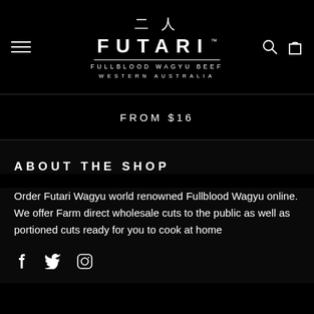[Figure (logo): Futari Fullblood Wagyu Beef Western Australia logo with Japanese kanji characters, white on black background]
FROM $16
ABOUT THE SHOP
Order Futari Wagyu world renowned Fullblood Wagyu online. We offer Farm direct wholesale cuts to the public as well as portioned cuts ready for you to cook at home
[Figure (illustration): Social media icons: Facebook, Twitter, Instagram]